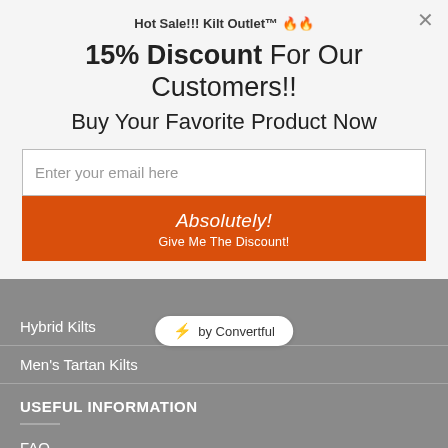Hot Sale!!! Kilt Outlet™ 🔥🔥
15% Discount For Our Customers!!
Buy Your Favorite Product Now
Enter your email here
Absolutely!
Give Me The Discount!
Hybrid Kilts
[Figure (logo): Convertful badge with lightning bolt icon]
Men's Tartan Kilts
USEFUL INFORMATION
FAQ
Return Policy